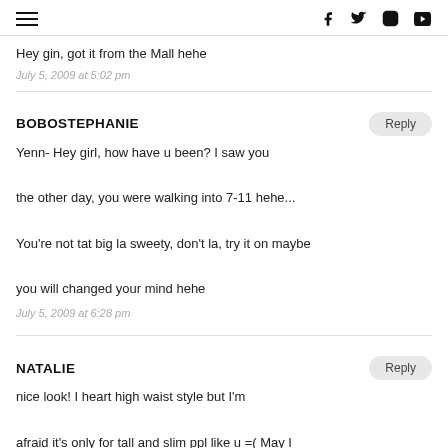[hamburger menu] [f] [twitter] [instagram] [youtube]
Hey gin, got it from the Mall hehe
July 5, 2009 at 5:02 pm
BOBOSTEPHANIE
Yenn- Hey girl, how have u been? I saw you the other day, you were walking into 7-11 hehe... You're not tat big la sweety, don't la, try it on maybe you will changed your mind hehe
July 5, 2009 at 6:28 pm
NATALIE
nice look! I heart high waist style but I'm afraid it's only for tall and slim ppl like u =( May I